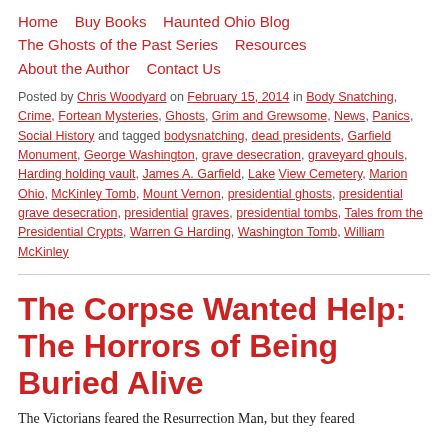Home    Buy Books    Haunted Ohio Blog    The Ghosts of the Past Series    Resources    About the Author    Contact Us
Posted by Chris Woodyard on February 15, 2014 in Body Snatching, Crime, Fortean Mysteries, Ghosts, Grim and Grewsome, News, Panics, Social History and tagged bodysnatching, dead presidents, Garfield Monument, George Washington, grave desecration, graveyard ghouls, Harding holding vault, James A. Garfield, Lake View Cemetery, Marion Ohio, McKinley Tomb, Mount Vernon, presidential ghosts, presidential grave desecration, presidential graves, presidential tombs, Tales from the Presidential Crypts, Warren G Harding, Washington Tomb, William McKinley
The Corpse Wanted Help: The Horrors of Being Buried Alive
The Victorians feared the Resurrection Man, but they feared